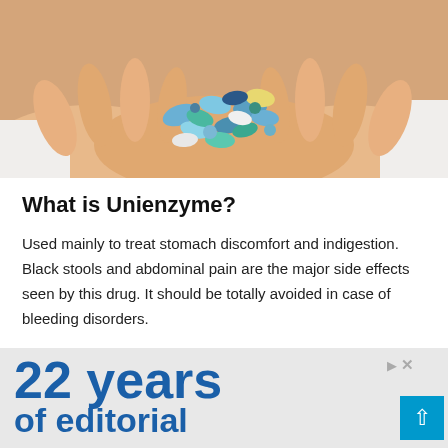[Figure (photo): Close-up of cupped hands holding a pile of colorful pills and tablets in various shades of blue, teal, yellow, and white]
What is Unienzyme?
Used mainly to treat stomach discomfort and indigestion. Black stools and abdominal pain are the major side effects seen by this drug. It should be totally avoided in case of bleeding disorders.
[Figure (screenshot): Advertisement banner showing '22 years of editorial' text in dark blue bold font on a light gray background, with a cyan scroll-to-top button in the bottom right corner]